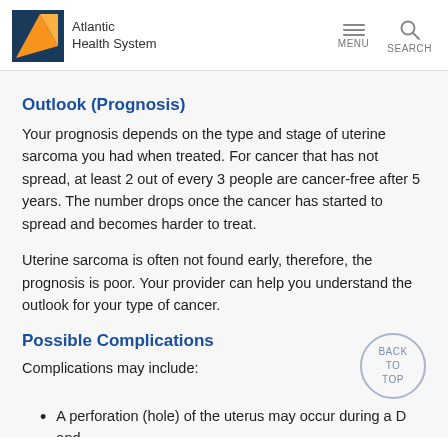Atlantic Health System
Outlook (Prognosis)
Your prognosis depends on the type and stage of uterine sarcoma you had when treated. For cancer that has not spread, at least 2 out of every 3 people are cancer-free after 5 years. The number drops once the cancer has started to spread and becomes harder to treat.
Uterine sarcoma is often not found early, therefore, the prognosis is poor. Your provider can help you understand the outlook for your type of cancer.
Possible Complications
Complications may include:
A perforation (hole) of the uterus may occur during a D and